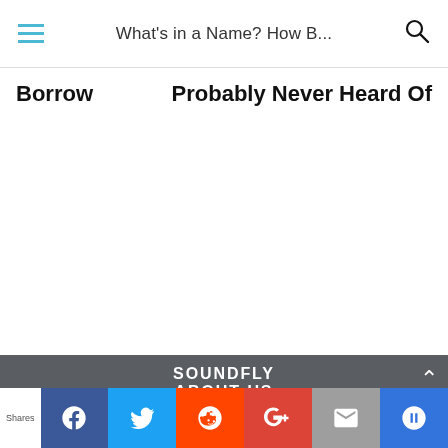What's in a Name? How B...
Borrow
Probably Never Heard Of
SOUNDFLY  ABOUT US  COURSES  CONTACT
Shares  Facebook  Twitter  Reddit  Google+  Mail  Crown